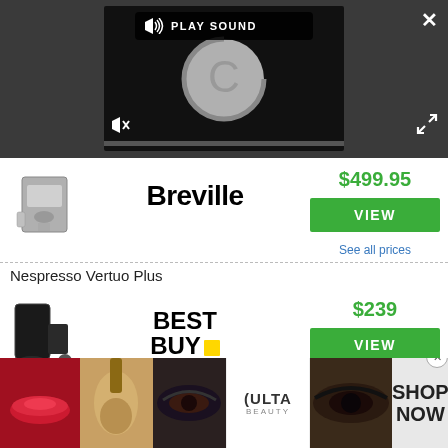[Figure (screenshot): Video player with play sound button, loading spinner, mute icon, and progress bar on dark background. Close (X) and expand buttons visible.]
$499.95
[Figure (logo): Breville brand logo in bold black text]
[Figure (photo): Breville espresso machine product image]
VIEW
See all prices
Nespresso Vertuo Plus
$239
[Figure (logo): Best Buy logo in bold black text with yellow price tag icon]
[Figure (photo): Nespresso Vertuo Plus machine product image]
VIEW
[Figure (photo): Ulta Beauty advertisement banner with makeup images, Ulta logo, and SHOP NOW text]